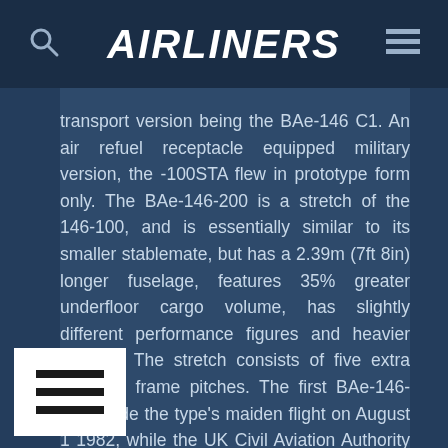AIRLINERS
transport version being the BAe-146 C1. An air refuel receptacle equipped military version, the -100STA flew in prototype form only. The BAe-146-200 is a stretch of the 146-100, and is essentially similar to its smaller stablemate, but has a 2.39m (7ft 8in) longer fuselage, features 35% greater underfloor cargo volume, has slightly different performance figures and heavier weights. The stretch consists of five extra fuselage frame pitches. The first BAe-146-200 made the type's maiden flight on August 1 1982, while the UK Civil Aviation Authority awarded the 146-200s type certificate on February 4 the following year. Versions of the 146-200 include the -200QT Quiet Trader freighter, which has been fairly succesful because of its low external noise footprint, and the -200QC (Quick Change) passenger or freight convertible. The 146-300 is a further stretched derivative of the original short fuselage BAe-146-100, but unlike the midsize